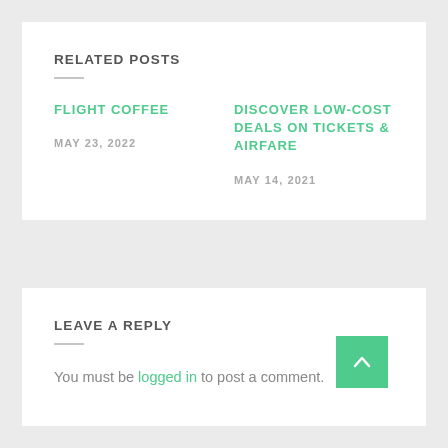RELATED POSTS
FLIGHT COFFEE
MAY 23, 2022
DISCOVER LOW-COST DEALS ON TICKETS & AIRFARE
MAY 14, 2021
LEAVE A REPLY
You must be logged in to post a comment.